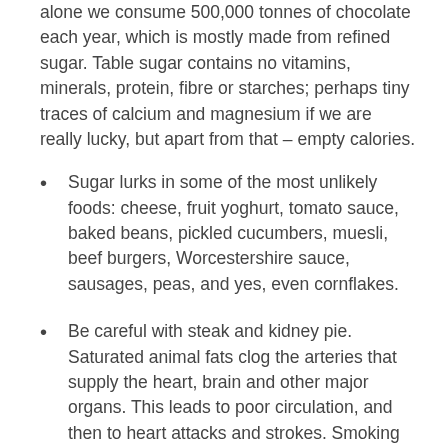alone we consume 500,000 tonnes of chocolate each year, which is mostly made from refined sugar. Table sugar contains no vitamins, minerals, protein, fibre or starches; perhaps tiny traces of calcium and magnesium if we are really lucky, but apart from that – empty calories.
Sugar lurks in some of the most unlikely foods: cheese, fruit yoghurt, tomato sauce, baked beans, pickled cucumbers, muesli, beef burgers, Worcestershire sauce, sausages, peas, and yes, even cornflakes.
Be careful with steak and kidney pie. Saturated animal fats clog the arteries that supply the heart, brain and other major organs. This leads to poor circulation, and then to heart attacks and strokes. Smoking accelerates this process.
Foods high in animal fat have been blamed for the increased incidence of breast cancer. So go easy at the fast food counter.